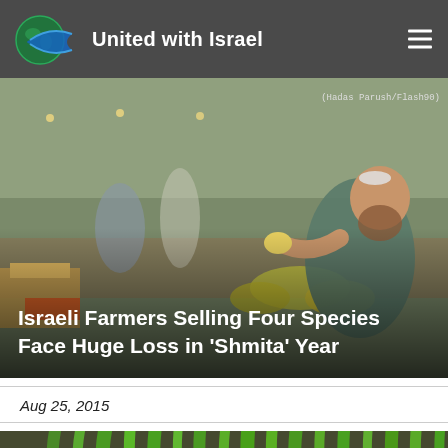United with Israel
[Figure (photo): Man at outdoor market examining fruit (Four Species), boxes of produce on table, other people in background. Photo credit: Hadas Parush/Flash90]
Israeli Farmers Selling Four Species Face Huge Loss in 'Shmita' Year
Aug 25, 2015
[Figure (photo): Close-up of green lulav (palm fronds) and aravot (willow branches) on a wooden surface]